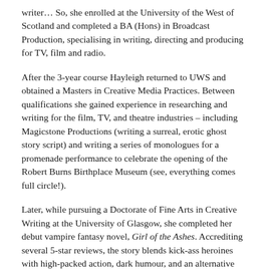writer… So, she enrolled at the University of the West of Scotland and completed a BA (Hons) in Broadcast Production, specialising in writing, directing and producing for TV, film and radio.
After the 3-year course Hayleigh returned to UWS and obtained a Masters in Creative Media Practices. Between qualifications she gained experience in researching and writing for the film, TV, and theatre industries – including Magicstone Productions (writing a surreal, erotic ghost story script) and writing a series of monologues for a promenade performance to celebrate the opening of the Robert Burns Birthplace Museum (see, everything comes full circle!).
Later, while pursuing a Doctorate of Fine Arts in Creative Writing at the University of Glasgow, she completed her debut vampire fantasy novel, Girl of the Ashes. Accrediting several 5-star reviews, the story blends kick-ass heroines with high-packed action, dark humour, and an alternative Scottish history. Basically, Hayleigh enjoys creating dangerous women